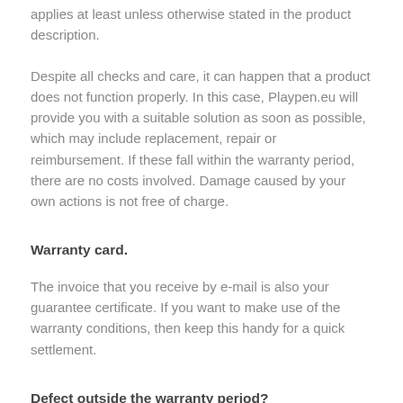applies at least unless otherwise stated in the product description.
Despite all checks and care, it can happen that a product does not function properly. In this case, Playpen.eu will provide you with a suitable solution as soon as possible, which may include replacement, repair or reimbursement. If these fall within the warranty period, there are no costs involved. Damage caused by your own actions is not free of charge.
Warranty card.
The invoice that you receive by e-mail is also your guarantee certificate. If you want to make use of the warranty conditions, then keep this handy for a quick settlement.
Defect outside the warranty period?
It can of course occur that a product just outside the warranty period has a defect, and we are easy on it.